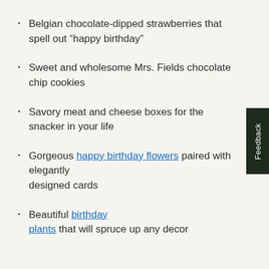Belgian chocolate-dipped strawberries that spell out “happy birthday”
Sweet and wholesome Mrs. Fields chocolate chip cookies
Savory meat and cheese boxes for the snacker in your life
Gorgeous happy birthday flowers paired with elegantly designed cards
Beautiful birthday plants that will spruce up any decor